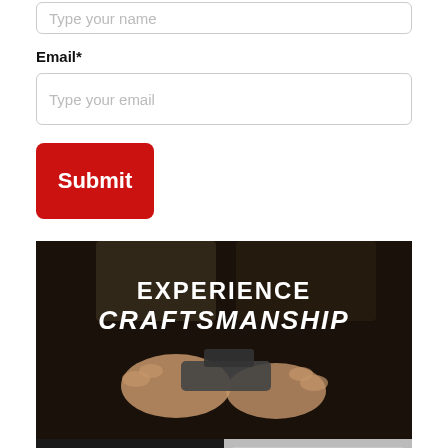Type your name
Email*
Type your email
Submit
[Figure (photo): Advertisement image showing hands working on a firearm with text 'EXPERIENCE CRAFTSMANSHIP' overlaid on a dark background]
[Figure (logo): Dan Wesson Firearms logo on dark background with LEARN MORE text]
[Figure (photo): Silver/chrome Dan Wesson 1911-style pistol on light background]